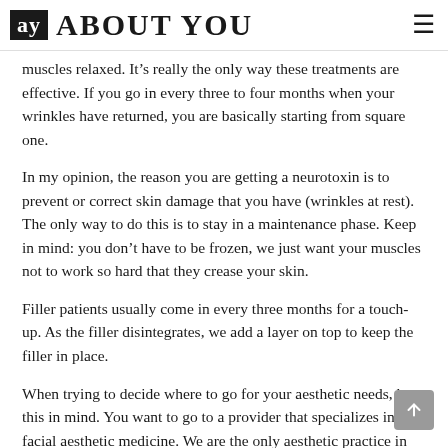ay ABOUT YOU ≡
muscles relaxed. It's really the only way these treatments are effective. If you go in every three to four months when your wrinkles have returned, you are basically starting from square one.
In my opinion, the reason you are getting a neurotoxin is to prevent or correct skin damage that you have (wrinkles at rest). The only way to do this is to stay in a maintenance phase. Keep in mind: you don't have to be frozen, we just want your muscles not to work so hard that they crease your skin.
Filler patients usually come in every three months for a touch-up. As the filler disintegrates, we add a layer on top to keep the filler in place.
When trying to decide where to go for your aesthetic needs, keep this in mind. You want to go to a provider that specializes in facial aesthetic medicine. We are the only aesthetic practice in the southeast with a sole focus on neurotoxins and dermal fillers in all three of our locations.